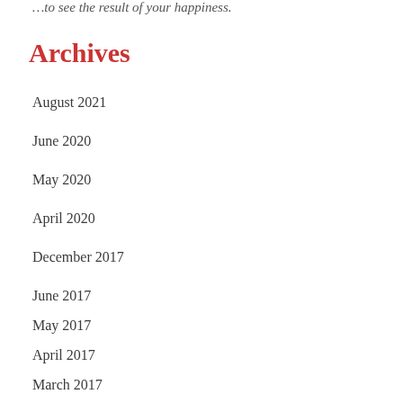…to see the result of your happiness.
Archives
August 2021
June 2020
May 2020
April 2020
December 2017
June 2017
May 2017
April 2017
March 2017
February 2017